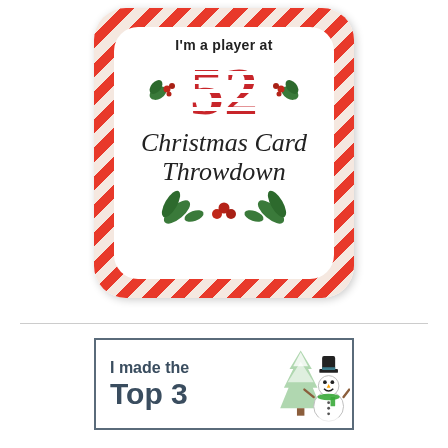[Figure (illustration): Candy-cane striped rounded square badge reading 'I'm a player at 52 Christmas Card Throwdown' with holly decorations]
[Figure (illustration): Blue-bordered rectangular badge reading 'I made the Top 3' with a snowman and snowy Christmas tree illustration]